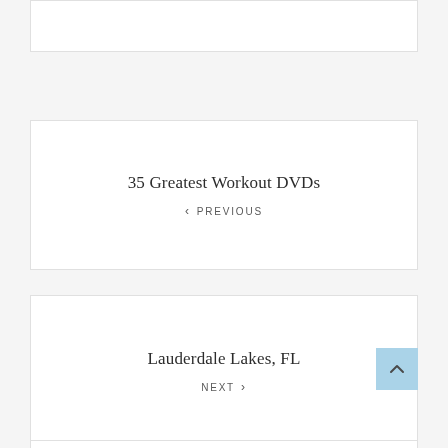[Figure (other): Top white card box, empty/truncated]
35 Greatest Workout DVDs
< PREVIOUS
Lauderdale Lakes, FL
NEXT >
[Figure (other): Back to top button with upward chevron arrow, light blue background]
[Figure (other): Bottom white card box, partially visible]